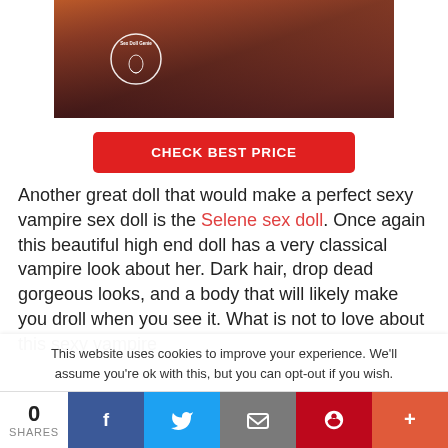[Figure (photo): Photo of a decorative doll in gothic/vampire style clothing with a Sex Doll Genie watermark logo]
CHECK BEST PRICE
Another great doll that would make a perfect sexy vampire sex doll is the Selene sex doll. Once again this beautiful high end doll has a very classical vampire look about her. Dark hair, drop dead gorgeous looks, and a body that will likely make you droll when you see it. What is not to love about this sexy vampire
This website uses cookies to improve your experience. We'll assume you're ok with this, but you can opt-out if you wish.
0 SHARES